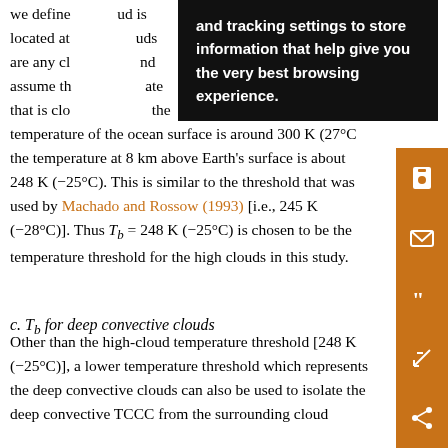we define ... and tracking settings to store information that help give you the very best browsing experience. ... uds are any cl... nd assume th... ate that is clo... the temperature of the ocean surface is around 300 K (27°C the temperature at 8 km above Earth's surface is about 248 K (−25°C). This is similar to the threshold that was used by Machado and Rossow (1993) [i.e., 245 K (−28°C)]. Thus T_b = 248 K (−25°C) is chosen to be the temperature threshold for the high clouds in this study.
[Figure (screenshot): Cookie consent overlay popup with dark background showing text: 'and tracking settings to store information that help give you the very best browsing experience.']
c. T_b for deep convective clouds
Other than the high-cloud temperature threshold [248 K (−25°C)], a lower temperature threshold which represents the deep convective clouds can also be used to isolate the deep convective TCCC from the surrounding cloud